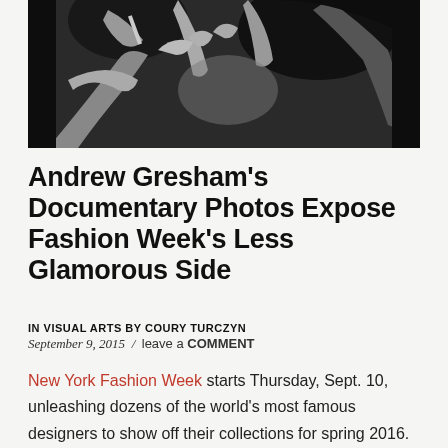[Figure (photo): Black and white documentary photograph showing hands and people at a fashion event, close-up overhead view]
Andrew Gresham's Documentary Photos Expose Fashion Week's Less Glamorous Side
IN VISUAL ARTS BY COURY TURCZYN
September 9, 2015 / leave a COMMENT
New York Fashion Week starts Thursday, Sept. 10, unleashing dozens of the world's most famous designers to show off their collections for spring 2016. As anyone who watches reality TV knows, NYFW is the ne plus ultra of glamour and drama,